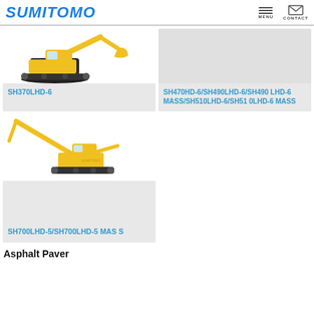SUMITOMO | MENU | CONTACT
[Figure (photo): Yellow Sumitomo excavator SH370LHD-6 on white background]
SH370LHD-6
[Figure (photo): Gray placeholder image for SH470HD-6/SH490LHD-6/SH490 LHD-6 MASS/SH510LHD-6/SH510LHD-6 MASS]
SH470HD-6/SH490LHD-6/SH490 LHD-6 MASS/SH510LHD-6/SH51 0LHD-6 MASS
[Figure (photo): Yellow Sumitomo excavator SH700LHD-5/SH700LHD-5 MASS on white background]
SH700LHD-5/SH700LHD-5 MAS S
Asphalt Paver